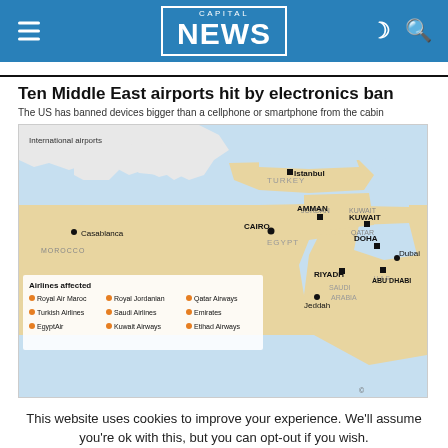CAPITAL NEWS
Ten Middle East airports hit by electronics ban
The US has banned devices bigger than a cellphone or smartphone from the cabin
[Figure (map): Map of Middle East and North Africa showing international airports affected by US electronics ban. Airports marked: Istanbul (Turkey), Casablanca (Morocco), Amman (Jordan), Cairo (Egypt), Kuwait (Kuwait), Doha (Qatar), Dubai (U.A.E.), Abu Dhabi (U.A.E.), Riyadh (Saudi Arabia), Jeddah (Saudi Arabia). Airlines affected listed: Royal Air Maroc, Royal Jordanian, Qatar Airways, Turkish Airlines, Saudi Airlines, Emirates, EgyptAir, Kuwait Airways, Etihad Airways. Credit: AFP]
This website uses cookies to improve your experience. We'll assume you're ok with this, but you can opt-out if you wish.
Cookie settings   ACCEPT